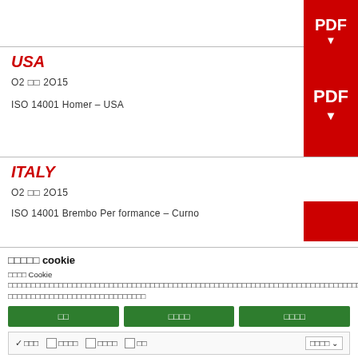[Figure (other): Red PDF download button partially visible at top right]
USA
02 □□ 2015
ISO 14001 Homer – USA
[Figure (other): Red PDF download button]
ITALY
02 □□ 2015
ISO 14001 Brembo Performance – Curno
□□□□□ cookie
□□□□ Cookie □□□□□□□□□□□□□□□□□□□□□□□□□□□□□□□□□□□□□□□□□□□□□□□□□□□□□□□□□□□□□□□□□□□□□□□□□□□□□□□□□□□□□□□□□□□□□□□□□□□□□□□□□□□□□□□□□□□□□□□□□□□□□□□□□□□□□□□□□□□□□□□□□□□□□□□□□□□□□□□□□□□□□□□□□□□□□□□□
□□  □□□□  □□□□
✓ □□□  □ □□□□  □ □□□□  □ □□  □□□□ ∨